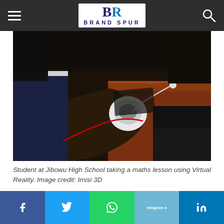Brand Spur
[Figure (photo): Student at Jibowu High School taking a maths lesson using Virtual Reality headset at a school desk with earphones and a cord visible]
Student at Jibowu High School taking a maths lesson using Virtual Reality. Image credit: Imisi 3D